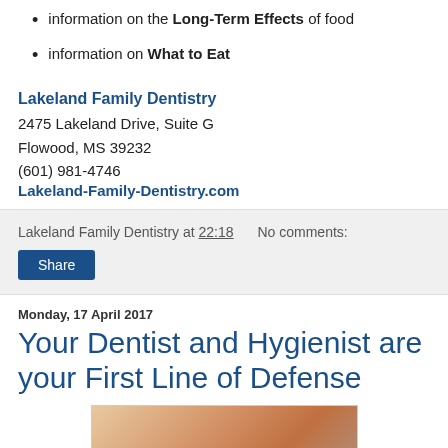information on the Long-Term Effects of food
information on What to Eat
Lakeland Family Dentistry
2475 Lakeland Drive, Suite G
Flowood, MS 39232
(601) 981-4746
Lakeland-Family-Dentistry.com
Lakeland Family Dentistry at 22:18   No comments:
Share
Monday, 17 April 2017
Your Dentist and Hygienist are your First Line of Defense
[Figure (photo): Close-up photo of a person's face/nose area]